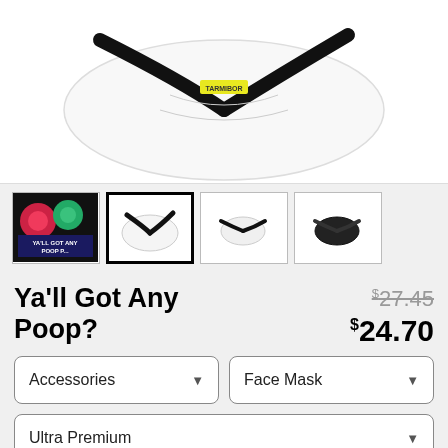[Figure (photo): Product main image: white face mask with black strap on white background]
[Figure (photo): Thumbnail 1: colorful face mask with text 'Ya'll Got Any Poop?' on dark background]
[Figure (photo): Thumbnail 2 (selected): white face mask with black strap, side view, selected/highlighted]
[Figure (photo): Thumbnail 3: white face mask with black strap, front view]
[Figure (photo): Thumbnail 4: black face mask, front view]
Ya'll Got Any Poop?
$27.45 (original price, strikethrough) $24.70 (sale price)
Accessories (dropdown)
Face Mask (dropdown)
Ultra Premium (dropdown, partially visible)